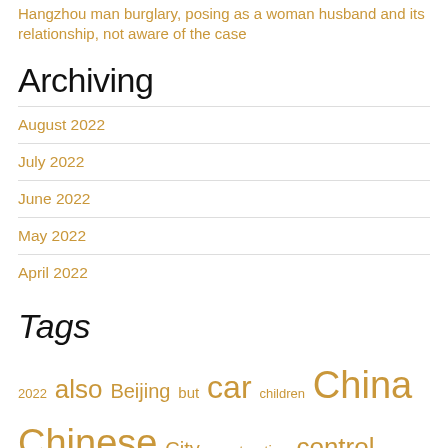Hangzhou man burglary, posing as a woman husband and its relationship, not aware of the case
Archiving
August 2022
July 2022
June 2022
May 2022
April 2022
Tags
2022 also Beijing but car children China Chinese City construction control County day development epidemic February Festival good he her high his more